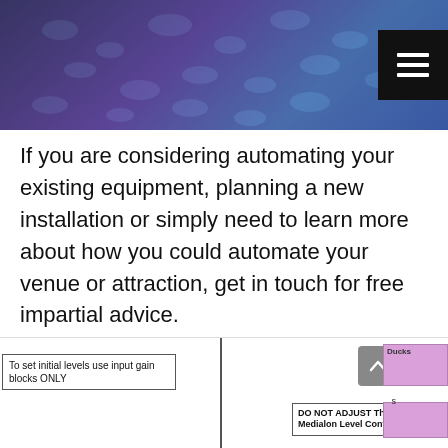[Figure (photo): Dark decorative image with blue/purple lighting and dot pattern at top of page, with a black hamburger menu button in top right corner]
If you are considering automating your existing equipment, planning a new installation or simply need to learn more about how you could automate your venue or attraction, get in touch for free impartial advice.
If you are looking to purchase a Medialon product, contact us first for the best price.
Contact Us
[Figure (screenshot): Bottom strip showing engineering diagram fragments: annotation box 'To set initial levels use input gain blocks ONLY', vertical line divider, 'DO NOT ADJUST These Gain Blocks - Medialon Level Control' box, scroll button, and pink/purple blocks labeled Ducks]